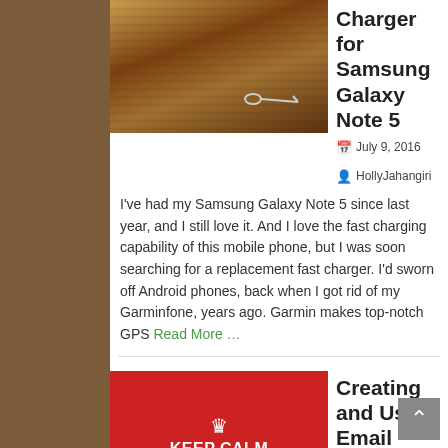[Figure (photo): Thumbnail of wood surface with safety pin]
Charger for Samsung Galaxy Note 5
July 9, 2016   HollyJahangiri
I've had my Samsung Galaxy Note 5 since last year, and I still love it. And I love the fast charging capability of this mobile phone, but I was soon searching for a replacement fast charger. I'd sworn off Android phones, back when I got rid of my Garminfone, years ago. Garmin makes top-notch GPS Read More …
[Figure (illustration): Keep Calm and Have a Drink - We're Going to Do Geeky Stuff red poster]
Creating and Using Email Templates in Outlook 2016 Desktop
May 21, 2016   HollyJahangiri